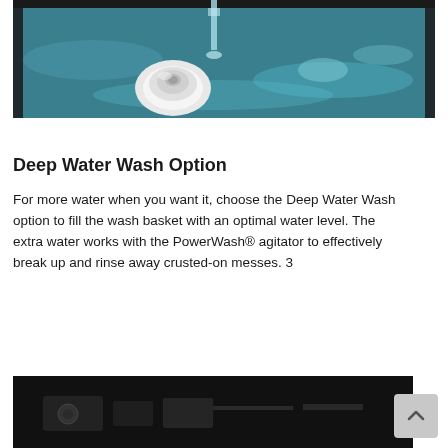[Figure (photo): Close-up photo of a washing machine agitator with water filling a teal/blue wash basket, water stream visible from above]
Deep Water Wash Option
For more water when you want it, choose the Deep Water Wash option to fill the wash basket with an optimal water level. The extra water works with the PowerWash® agitator to effectively break up and rinse away crusted-on messes. 3
[Figure (photo): Partial photo at bottom of page, dark background, appears to be washing machine controls or interior, partially cut off]